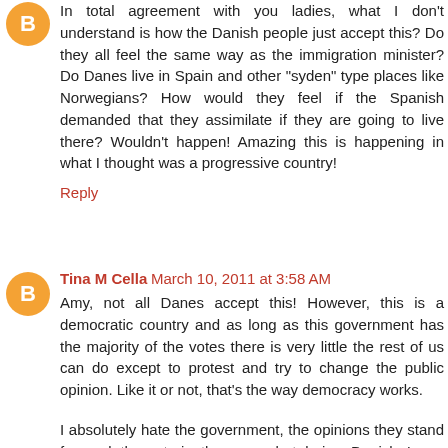In total agreement with you ladies, what I don't understand is how the Danish people just accept this? Do they all feel the same way as the immigration minister? Do Danes live in Spain and other "syden" type places like Norwegians? How would they feel if the Spanish demanded that they assimilate if they are going to live there? Wouldn't happen! Amazing this is happening in what I thought was a progressive country!
Reply
Tina M Cella  March 10, 2011 at 3:58 AM
Amy, not all Danes accept this! However, this is a democratic country and as long as this government has the majority of the votes there is very little the rest of us can do except to protest and try to change the public opinion. Like it or not, that's the way democracy works.
I absolutely hate the government, the opinions they stand for and the retoric they use, but being Danish I can assure you that it doesn't help, that the people, like me, who